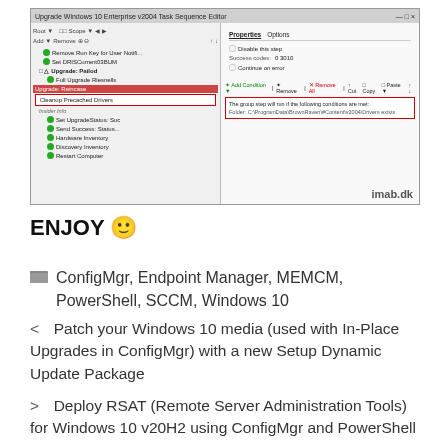[Figure (screenshot): Windows 10 Enterprise v2004 Task Sequence Editor showing Upgrade task sequence with 'Cleanup Precached Drivers' step selected and condition showing folder path C:\ProgramData\BrownRaven\#Content\v2004\Drivers exists. The window has red highlighted boxes around the selected step and the condition box. Watermark 'imab.dk' in bottom right.]
ENJOY 🙂
ConfigMgr, Endpoint Manager, MEMCM, PowerShell, SCCM, Windows 10
< Patch your Windows 10 media (used with In-Place Upgrades in ConfigMgr) with a new Setup Dynamic Update Package
> Deploy RSAT (Remote Server Administration Tools) for Windows 10 v20H2 using ConfigMgr and PowerShell